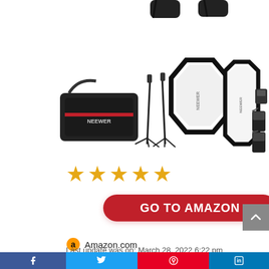[Figure (photo): Photography lighting kit product image showing a carry bag, two light stands, two octagonal softboxes (one large hexagonal, one strip), and wireless flash triggers/receivers on white background]
[Figure (other): Five orange/gold star rating icons indicating a 5-star review]
GO TO AMAZON
Amazon.com
Last update was on: March 28, 2022 6:22 pm
Social share bar footer